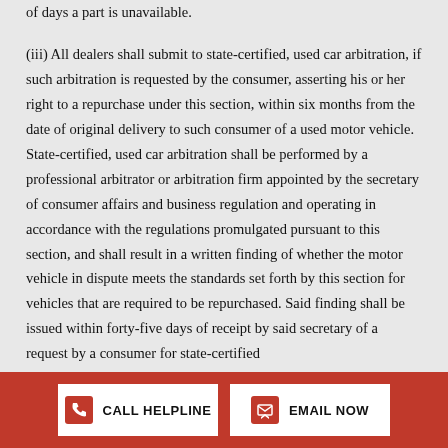of days a part is unavailable.
(iii) All dealers shall submit to state-certified, used car arbitration, if such arbitration is requested by the consumer, asserting his or her right to a repurchase under this section, within six months from the date of original delivery to such consumer of a used motor vehicle. State-certified, used car arbitration shall be performed by a professional arbitrator or arbitration firm appointed by the secretary of consumer affairs and business regulation and operating in accordance with the regulations promulgated pursuant to this section, and shall result in a written finding of whether the motor vehicle in dispute meets the standards set forth by this section for vehicles that are required to be repurchased. Said finding shall be issued within forty-five days of receipt by said secretary of a request by a consumer for state-certified
CALL HELPLINE | EMAIL NOW